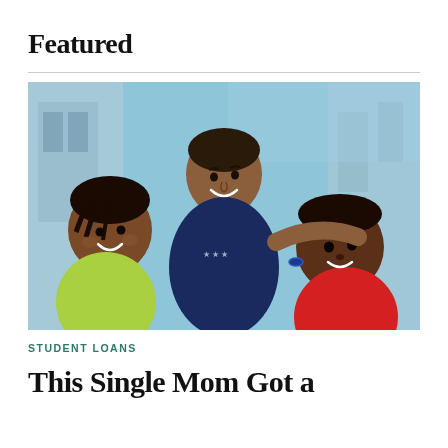Featured
[Figure (photo): Selfie photo of a smiling Black woman (mother) with two children — a girl with braids wearing a yellow-green top on the left and a boy wearing a red shirt on the right — taken poolside with a blue aquatic background.]
STUDENT LOANS
This Single Mom Got a